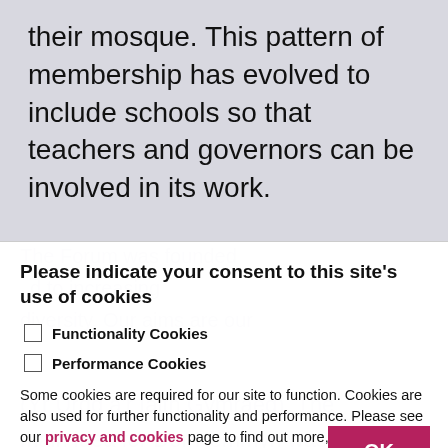their mosque. This pattern of membership has evolved to include schools so that teachers and governors can be involved in its work.
Please indicate your consent to this site's use of cookies
Functionality Cookies
Performance Cookies
Some cookies are required for our site to function. Cookies are also used for further functionality and performance. Please see our privacy and cookies page to find out more, and manage your consent at any time.